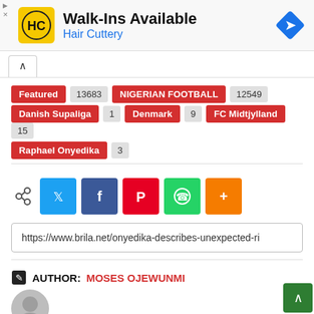[Figure (logo): Hair Cuttery advertisement banner with HC logo, Walk-Ins Available text, and navigation arrow icon]
Featured 13683
NIGERIAN FOOTBALL 12549
Danish Supaliga 1
Denmark 9
FC Midtjylland 15
Raphael Onyedika 3
[Figure (infographic): Social share buttons row: share icon, Twitter, Facebook, Pinterest, WhatsApp, More]
https://www.brila.net/onyedika-describes-unexpected-ri
AUTHOR: MOSES OJEWUNMI
[Figure (illustration): Default user avatar (gray circle with person silhouette)]